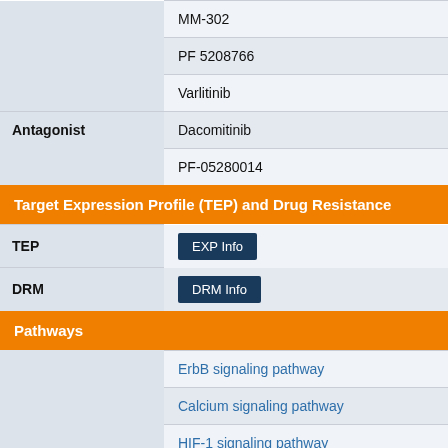|  | MM-302 |
|  | PF 5208766 |
|  | Varlitinib |
| Antagonist | Dacomitinib |
| Antagonist | PF-05280014 |
Target Expression Profile (TEP) and Drug Resistance
| TEP | EXP Info |
| --- | --- |
| DRM | DRM Info |
Pathways
|  | ErbB signaling pathway |
|  | Calcium signaling pathway |
|  | HIF-1 signaling pathway |
|  | Focal adhesion |